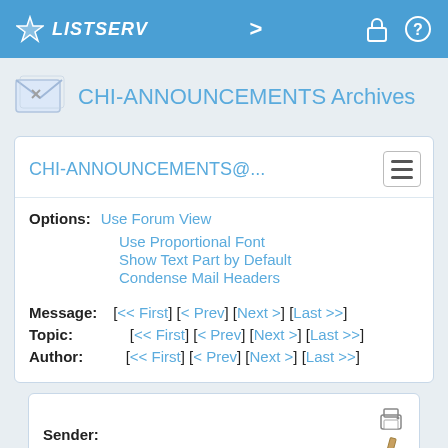LISTSERV
CHI-ANNOUNCEMENTS Archives
CHI-ANNOUNCEMENTS@...
Options: Use Forum View
Use Proportional Font
Show Text Part by Default
Condense Mail Headers
Message: [<< First] [< Prev] [Next >] [Last >>]
Topic: [<< First] [< Prev] [Next >] [Last >>]
Author: [<< First] [< Prev] [Next >] [Last >>]
Sender: "ACM SIGCHI General Interest Announcements (Mailing List)" <[log in to unmask]>
Subject: